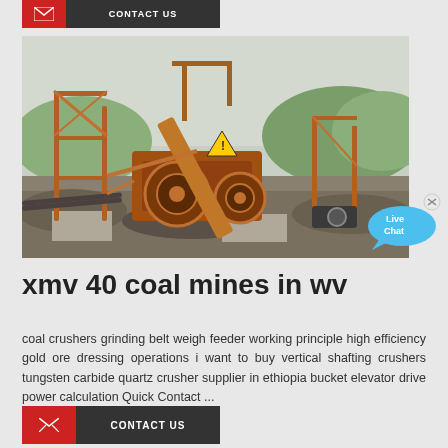CONTACT US
[Figure (photo): Outdoor mining/crushing equipment — large industrial jaw crusher or coal crusher on a rocky site with steel frame supports, conveyors, and machinery under an overcast sky.]
xmv 40 coal mines in wv
coal crushers grinding belt weigh feeder working principle high efficiency gold ore dressing operations i want to buy vertical shafting crushers tungsten carbide quartz crusher supplier in ethiopia bucket elevator drive power calculation Quick Contact ...
CONTACT US